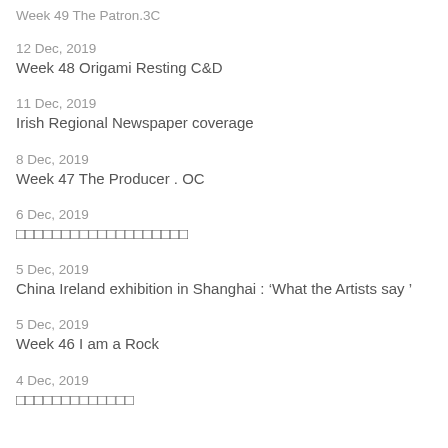Week 49 The Patron.3C
12 Dec, 2019
Week 48 Origami Resting C&D
11 Dec, 2019
Irish Regional Newspaper coverage
8 Dec, 2019
Week 47 The Producer . OC
6 Dec, 2019
□□□□□□□□□□□□□□□□□□□
5 Dec, 2019
China Ireland exhibition in Shanghai : 'What the Artists say '
5 Dec, 2019
Week 46 I am a Rock
4 Dec, 2019
□□□□□□□□□□□□□